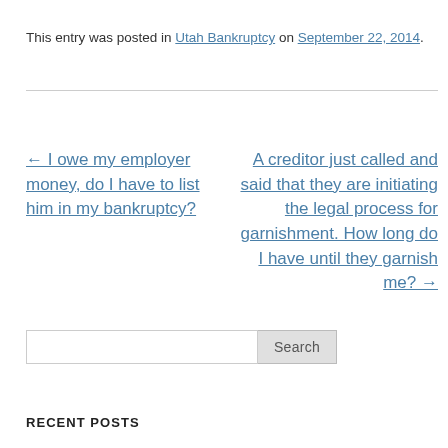This entry was posted in Utah Bankruptcy on September 22, 2014.
← I owe my employer money, do I have to list him in my bankruptcy?
A creditor just called and said that they are initiating the legal process for garnishment. How long do I have until they garnish me? →
Search
RECENT POSTS